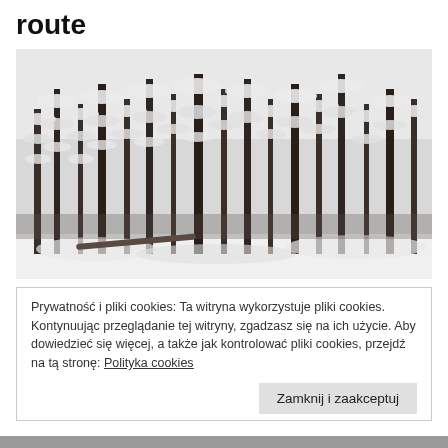route
[Figure (photo): Winter forest scene with tall snow-covered conifer trees standing in a snowy landscape, black and white tones.]
Prywatność i pliki cookies: Ta witryna wykorzystuje pliki cookies. Kontynuując przeglądanie tej witryny, zgadzasz się na ich użycie. Aby dowiedzieć się więcej, a także jak kontrolować pliki cookies, przejdź na tą stronę: Polityka cookies
Zamknij i zaakceptuj